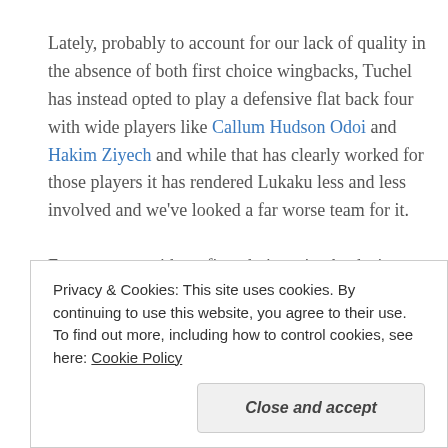Lately, probably to account for our lack of quality in the absence of both first choice wingbacks, Tuchel has instead opted to play a defensive flat back four with wide players like Callum Hudson Odoi and Hakim Ziyech and while that has clearly worked for those players it has rendered Lukaku less and less involved and we've looked a far worse team for it.
For me, even without first choice wing backs it makes much more sense to go back to the basics of the early part of Tuchel's reign – with passing, movement, territory
Privacy & Cookies: This site uses cookies. By continuing to use this website, you agree to their use.
To find out more, including how to control cookies, see here: Cookie Policy